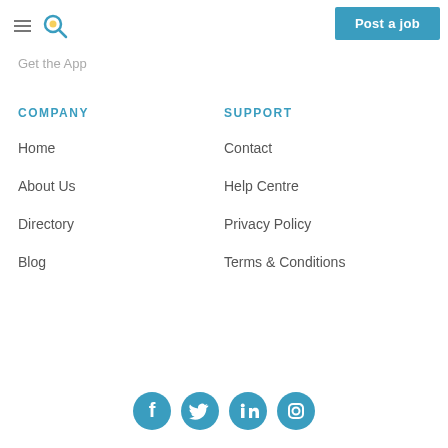Get the App | Post a job
Get the App
COMPANY
Home
About Us
Directory
Blog
SUPPORT
Contact
Help Centre
Privacy Policy
Terms & Conditions
[Figure (other): Social media icons: Facebook, Twitter, LinkedIn, Instagram]